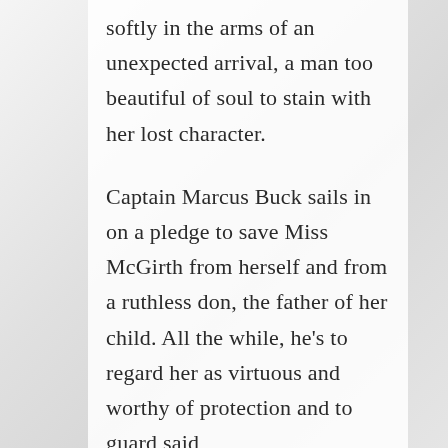softly in the arms of an unexpected arrival, a man too beautiful of soul to stain with her lost character.

Captain Marcus Buck sails in on a pledge to save Miss McGirth from herself and from a ruthless don, the father of her child. All the while, he's to regard her as virtuous and worthy of protection and to guard said